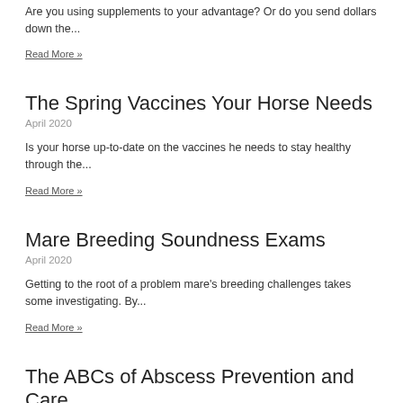Are you using supplements to your advantage? Or do you send dollars down the...
Read More »
The Spring Vaccines Your Horse Needs
April 2020
Is your horse up-to-date on the vaccines he needs to stay healthy through the...
Read More »
Mare Breeding Soundness Exams
April 2020
Getting to the root of a problem mare's breeding challenges takes some investigating.  By...
Read More »
The ABCs of Abscess Prevention and Care